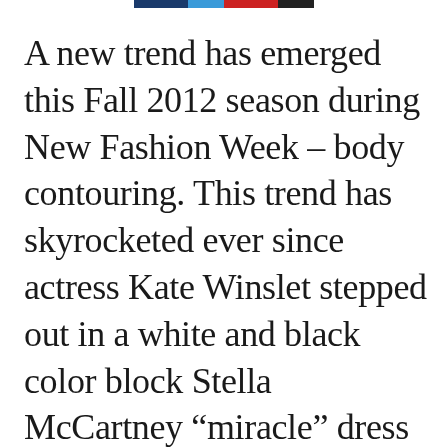[colored bar: dark blue, light blue, red, black]
A new trend has emerged this Fall 2012 season during New Fashion Week – body contouring. This trend has skyrocketed ever since actress Kate Winslet stepped out in a white and black color block Stella McCartney “miracle” dress that gave the illusion of a slim hourglass